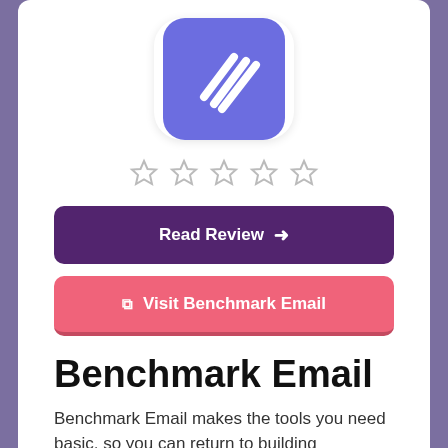[Figure (logo): Benchmark Email logo: blue/purple rounded square icon with white diagonal stripe lines]
[Figure (other): Five empty star rating icons in a row]
Read Review →
Visit Benchmark Email
Benchmark Email
Benchmark Email makes the tools you need basic, so you can return to building connections, accelerating your business, and elevating.